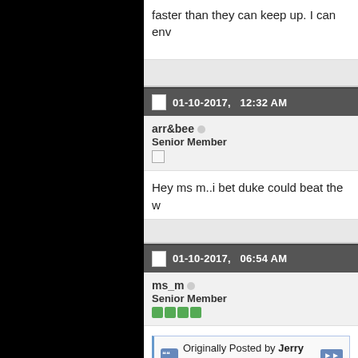faster than they can keep up. I can env
01-10-2017,   12:32 AM
arr&bee
Senior Member
Hey ms m..i bet duke could beat the w
01-10-2017,   06:54 AM
ms_m
Senior Member
Originally Posted by Jerry Oz
No. Centers are playing further from the slower opponents away from the paint a keep up. I can envision him as a 7'4" po